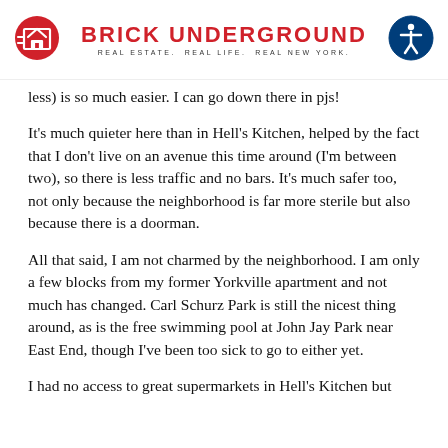BRICK UNDERGROUND — REAL ESTATE. REAL LIFE. REAL NEW YORK.
less)  is so much easier. I can go down there in pjs!
It's much quieter here than in Hell's Kitchen, helped by the fact that I don't live on an avenue this time around (I'm between two), so there is less traffic and no bars. It's much safer too, not only because the neighborhood is far more sterile but also because there is a doorman.
All that said, I am not charmed by the neighborhood. I am only a few blocks from my former Yorkville apartment and not much has changed. Carl Schurz Park is still the nicest thing around, as is the free swimming pool at John Jay Park near East End, though I've been too sick to go to either yet.
I had no access to great supermarkets in Hell's Kitchen but